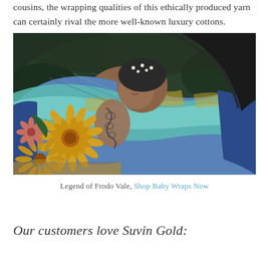cousins, the wrapping qualities of this ethically produced yarn can certainly rival the more well-known luxury cottons.
[Figure (photo): A woman carrying a sleeping baby in a colorful blue and gold patterned woven wrap, holding a large yellow chrysanthemum flower. The woman has a tattoo on her arm visible through the wrap. Dark green foliage background.]
Legend of Frodo Vale, Shop Baby Wraps Now
Our customers love Suvin Gold: